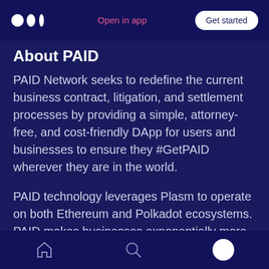Open in app | Get started
About PAID
PAID Network seeks to redefine the current business contract, litigation, and settlement processes by providing a simple, attorney-free, and cost-friendly DApp for users and businesses to ensure they #GetPAID wherever they are in the world.
PAID technology leverages Plasm to operate on both Ethereum and Polkadot ecosystems. PAID makes businesses exponentially more efficient by building SMART Agreements through smart
Home | Search | Profile